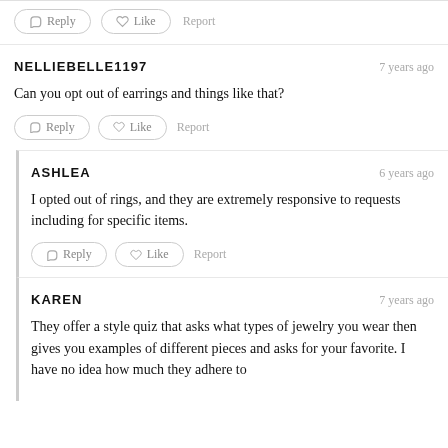Reply | Like | Report (partial top buttons)
NELLIEBELLE1197  7 years ago
Can you opt out of earrings and things like that?
Reply | Like | Report
ASHLEA  6 years ago
I opted out of rings, and they are extremely responsive to requests including for specific items.
Reply | Like | Report
KAREN  7 years ago
They offer a style quiz that asks what types of jewelry you wear then gives you examples of different pieces and asks for your favorite. I have no idea how much they adhere to